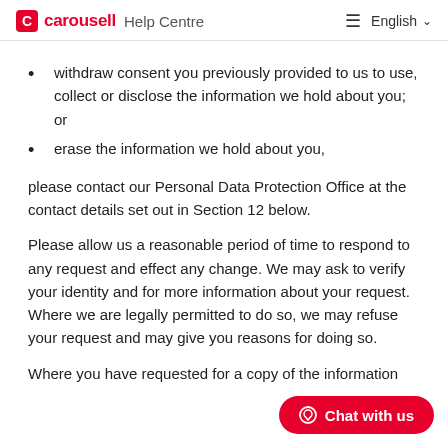carousell Help Centre  ≡ English ∨
withdraw consent you previously provided to us to use, collect or disclose the information we hold about you; or
erase the information we hold about you,
please contact our Personal Data Protection Office at the contact details set out in Section 12 below.
Please allow us a reasonable period of time to respond to any request and effect any change. We may ask to verify your identity and for more information about your request. Where we are legally permitted to do so, we may refuse your request and may give you reasons for doing so.
Where you have requested for a copy of the information